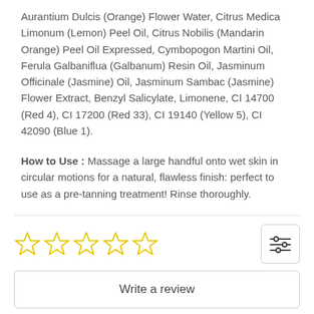Aurantium Dulcis (Orange) Flower Water, Citrus Medica Limonum (Lemon) Peel Oil, Citrus Nobilis (Mandarin Orange) Peel Oil Expressed, Cymbopogon Martini Oil, Ferula Galbaniflua (Galbanum) Resin Oil, Jasminum Officinale (Jasmine) Oil, Jasminum Sambac (Jasmine) Flower Extract, Benzyl Salicylate, Limonene, CI 14700 (Red 4), CI 17200 (Red 33), CI 19140 (Yellow 5), CI 42090 (Blue 1).
How to Use : Massage a large handful onto wet skin in circular motions for a natural, flawless finish: perfect to use as a pre-tanning treatment! Rinse thoroughly.
[Figure (other): Five empty star rating icons in yellow outline, and a filter/settings icon button on the right]
Write a review